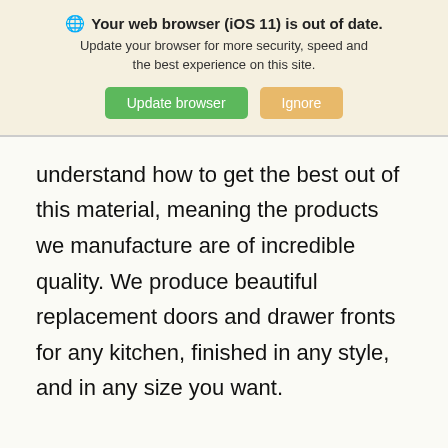Your web browser (iOS 11) is out of date. Update your browser for more security, speed and the best experience on this site. Update browser Ignore
understand how to get the best out of this material, meaning the products we manufacture are of incredible quality. We produce beautiful replacement doors and drawer fronts for any kitchen, finished in any style, and in any size you want.